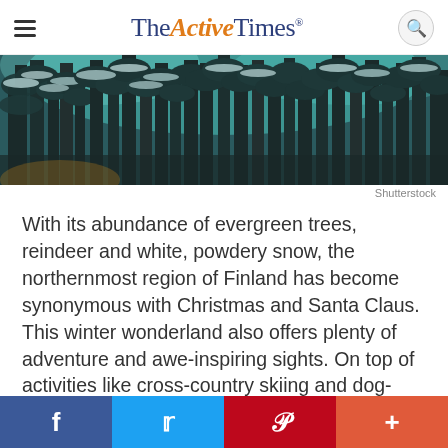TheActiveTimes
[Figure (photo): Snow-covered evergreen trees in a winter forest with teal/blue tones, viewed from below looking up at the canopy]
Shutterstock
With its abundance of evergreen trees, reindeer and white, powdery snow, the northernmost region of Finland has become synonymous with Christmas and Santa Claus. This winter wonderland also offers plenty of adventure and awe-inspiring sights. On top of activities like cross-country skiing and dog-sled safaris, visitors to Lapland can experience two natural phenomenon: the midnight sun around the
f  Twitter  p  +